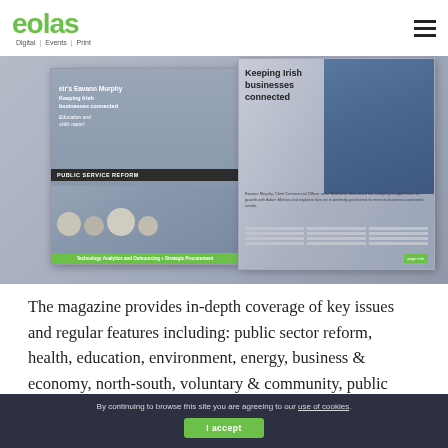eolas Digital | Events | Print
[Figure (photo): Magazine spread showing eolas magazine cover/spread with woman in blue, headlines about keeping Irish businesses connected, education and skills report, public service reform, and technology analytics outsourcing.]
The magazine provides in-depth coverage of key issues and regular features including: public sector reform, health, education, environment, energy, business & economy, north-south, voluntary & community, public affairs, media profile and people.
By continuing to browse this site you are agreeing to our use of cookies.
I accept